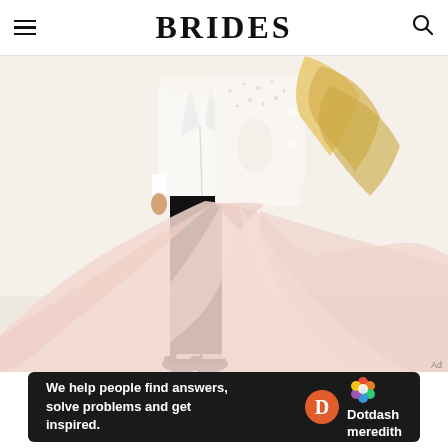BRIDES
[Figure (photo): Wedding couple from torso down: man in white tuxedo jacket and black trousers with black-and-white wingtip shoes, woman in elaborate beaded backless gown with voluminous blush pink tulle skirt, standing together on a white surface]
Ad
[Figure (infographic): Dotdash Meredith advertisement banner: dark background with text 'We help people find answers, solve problems and get inspired.' alongside Dotdash Meredith logo with orange D circle and colorful flower icon]